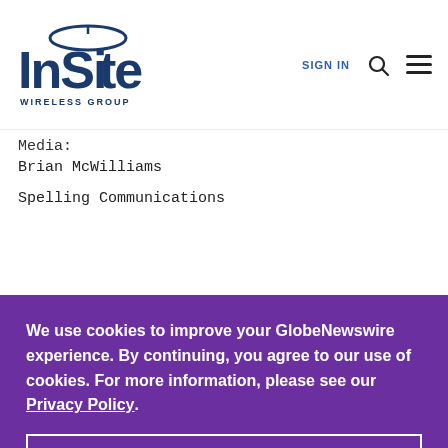[Figure (logo): InSite Wireless Group logo with arc over letter i, blue text]
SIGN IN
Media:
Brian McWilliams
Spelling Communications
We use cookies to improve your GlobeNewswire experience. By continuing, you agree to our use of cookies. For more information, please see our Privacy Policy.
ACCEPT